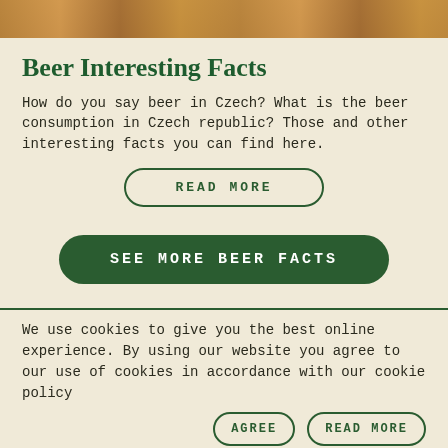[Figure (photo): Photo strip of beer glasses at the top of the page]
Beer Interesting Facts
How do you say beer in Czech? What is the beer consumption in Czech republic? Those and other interesting facts you can find here.
READ MORE (button)
SEE MORE BEER FACTS (button)
We use cookies to give you the best online experience. By using our website you agree to our use of cookies in accordance with our cookie policy
AGREE (button) READ MORE (button)